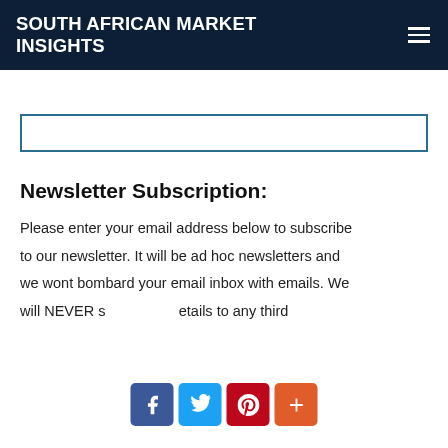SOUTH AFRICAN MARKET INSIGHTS
[Figure (other): Email subscription input box with teal/dark blue border]
Newsletter Subscription:
Please enter your email address below to subscribe to our newsletter. It will be ad hoc newsletters and we wont bombard your email inbox with emails. We will NEVER s[hare your details to any third]
[Figure (infographic): Social sharing bar with Facebook, Twitter, Pinterest, and AddThis (+) buttons]